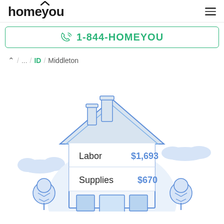homeyou
1-844-HOMEYOU
/ ... / ID / Middleton
[Figure (illustration): Illustrated house with labor cost $1,693 and supplies cost $670 displayed inside the house facade, surrounded by stylized trees and clouds in blue line-art style]